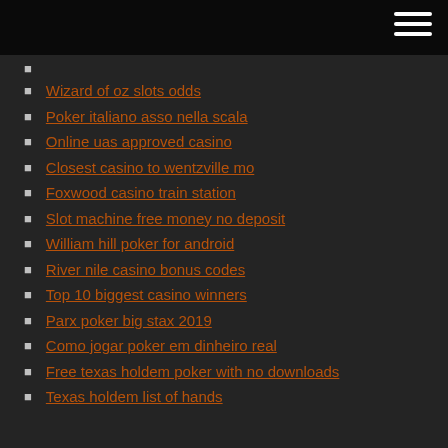Wizard of oz slots odds
Poker italiano asso nella scala
Online uas approved casino
Closest casino to wentzville mo
Foxwood casino train station
Slot machine free money no deposit
William hill poker for android
River nile casino bonus codes
Top 10 biggest casino winners
Parx poker big stax 2019
Como jogar poker em dinheiro real
Free texas holdem poker with no downloads
Texas holdem list of hands